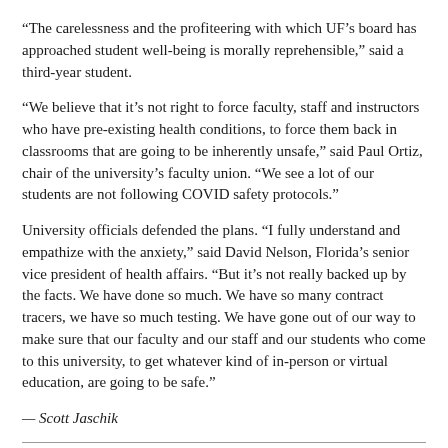“The carelessness and the profiteering with which UF’s board has approached student well-being is morally reprehensible,” said a third-year student.
“We believe that it’s not right to force faculty, staff and instructors who have pre-existing health conditions, to force them back in classrooms that are going to be inherently unsafe,” said Paul Ortiz, chair of the university’s faculty union. “We see a lot of our students are not following COVID safety protocols.”
University officials defended the plans. “I fully understand and empathize with the anxiety,” said David Nelson, Florida’s senior vice president of health affairs. “But it’s not really backed up by the facts. We have done so much. We have so many contract tracers, we have so much testing. We have gone out of our way to make sure that our faculty and our staff and our students who come to this university, to get whatever kind of in-person or virtual education, are going to be safe.”
— Scott Jaschik
Boston University Students Use 4-Letter Words to Get Focus on Real Issues